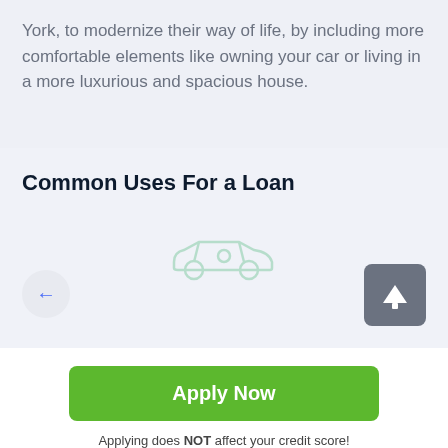York, to modernize their way of life, by including more comfortable elements like owning your car or living in a more luxurious and spacious house.
Common Uses For a Loan
[Figure (illustration): A faint illustration icon of a car or lifestyle symbol in light green/teal, centered in the carousel area. Left arrow navigation button and right up-arrow button.]
Apply Now
Applying does NOT affect your credit score! No credit check to apply.